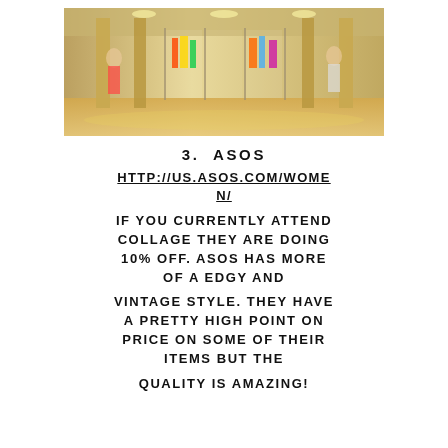[Figure (photo): Interior of a retail clothing store with glass doors and colorful clothing displays, bright warm lighting, people visible inside]
3.  ASOS
HTTP://US.ASOS.COM/WOMEN/
IF YOU CURRENTLY ATTEND COLLAGE THEY ARE DOING 10% OFF. ASOS HAS MORE OF A EDGY AND
VINTAGE STYLE. THEY HAVE A PRETTY HIGH POINT ON PRICE ON SOME OF THEIR ITEMS BUT THE
QUALITY IS AMAZING!